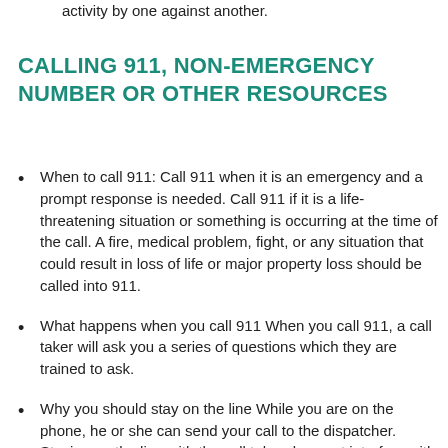activity by one against another.
CALLING 911, NON-EMERGENCY NUMBER OR OTHER RESOURCES
When to call 911: Call 911 when it is an emergency and a prompt response is needed. Call 911 if it is a life-threatening situation or something is occurring at the time of the call. A fire, medical problem, fight, or any situation that could result in loss of life or major property loss should be called into 911.
What happens when you call 911 When you call 911, a call taker will ask you a series of questions which they are trained to ask.
Why you should stay on the line While you are on the phone, he or she can send your call to the dispatcher. Staying on the line with the call taker does not interfere with the ability of the dispatcher to send help and it will not delay the response. The call taker may need you to stay on the line to help direct emergency personnel to the right location or to provide additional